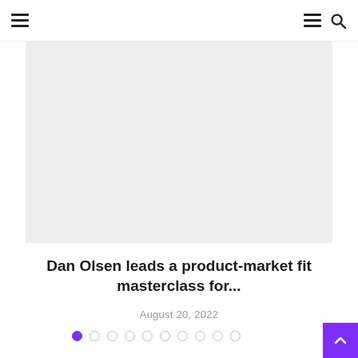Navigation header with hamburger menu and search icon
[Figure (photo): Large light gray placeholder image for an article thumbnail]
Dan Olsen leads a product-market fit masterclass for...
August 20, 2022
[Figure (other): Carousel pagination dots — 10 dots, first dot filled purple, rest empty]
[Figure (other): Purple scroll-to-top button with up arrow in bottom-right corner]